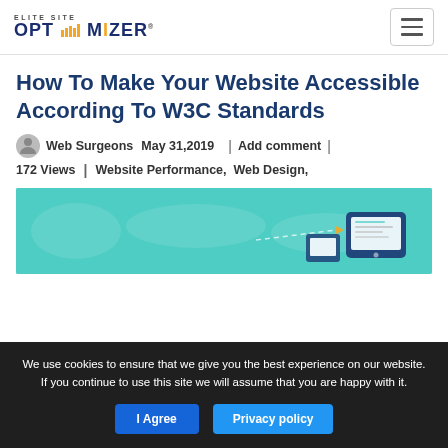ELITE SITE OPTIMIZER — navigation header with logo and hamburger menu
How To Make Your Website Accessible According To W3C Standards
Web Surgeons   May 31,2019  |  Add comment  |  172 Views  |  Website Performance,  Web Design,
[Figure (illustration): Teal/cyan colored banner image showing a world map background with a tablet device and a dashed line/arrow graphic, related to web accessibility.]
We use cookies to ensure that we give you the best experience on our website. If you continue to use this site we will assume that you are happy with it.
[I Agree] [Privacy policy]